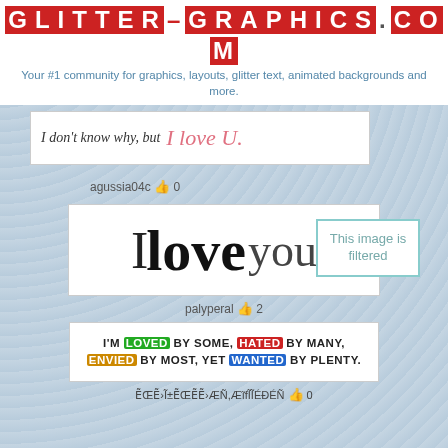[Figure (logo): Glitter-Graphics.com logo with red letter tiles on white background]
Your #1 community for graphics, layouts, glitter text, animated backgrounds and more.
agussia04c 👍 0
[Figure (illustration): White banner with italic text 'I don't know why, but I love U.' in cursive pink]
[Figure (illustration): This image is filtered box with teal border]
agussia04c 👍 0
[Figure (illustration): White banner with 'I love you' text - I in serif, love in script, you in serif]
palyperal 👍 2
[Figure (illustration): White banner with glittery bold text: I'M LOVED BY SOME, HATED BY MANY, ENVIED BY MOST, YET WANTED BY PLENTY.]
ẼŒẼ›Ĩ±ẼŒẼẼ›ÆÑ,ÆĩfĨĨÉÐÉÑ 👍 0